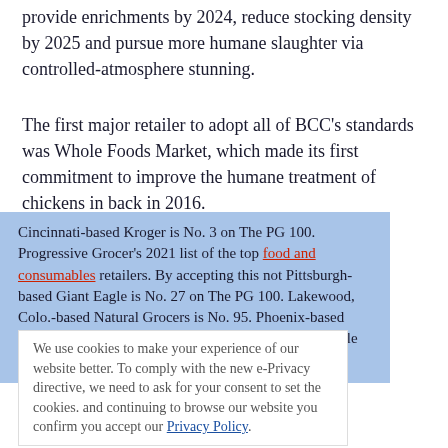provide enrichments by 2024, reduce stocking density by 2025 and pursue more humane slaughter via controlled-atmosphere stunning.
The first major retailer to adopt all of BCC's standards was Whole Foods Market, which made its first commitment to improve the humane treatment of chickens in back in 2016.
Cincinnati-based Kroger is No. 3 on The PG 100. Progressive Grocer's 2021 list of the top food and consumables retailers. By accepting this not Pittsburgh-based Giant Eagle is No. 27 on The PG 100. Lakewood, Colo.-based Natural Grocers is No. 95. Phoenix-based Sprouts Farmers Market is No. 48 on The PG 100, while Austin, Texas-based Whole Foods is No. 26.
We use cookies to make your experience of our website better. To comply with the new e-Privacy directive, we need to ask for your consent to set the cookies. and continuing to browse our website you confirm you accept our Privacy Policy.
Also Worth Reading